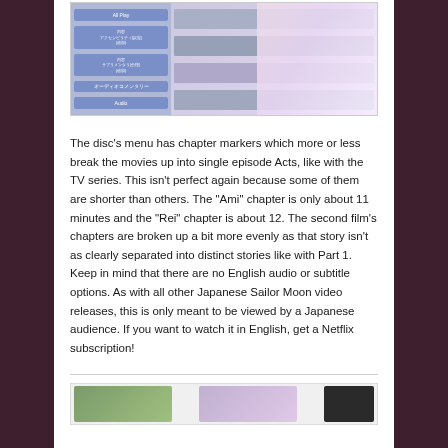[Figure (screenshot): Anime Blu-ray disc menu showing chapter selection interface with Japanese text buttons on the left and anime screenshots/character art on the right]
The disc's menu has chapter markers which more or less break the movies up into single episode Acts, like with the TV series. This isn't perfect again because some of them are shorter than others. The "Ami" chapter is only about 11 minutes and the "Rei" chapter is about 12. The second film's chapters are broken up a bit more evenly as that story isn't as clearly separated into distinct stories like with Part 1. Keep in mind that there are no English audio or subtitle options. As with all other Japanese Sailor Moon video releases, this is only meant to be viewed by a Japanese audience. If you want to watch it in English, get a Netflix subscription!
[Figure (screenshot): Bottom strip showing partial images from the disc content]